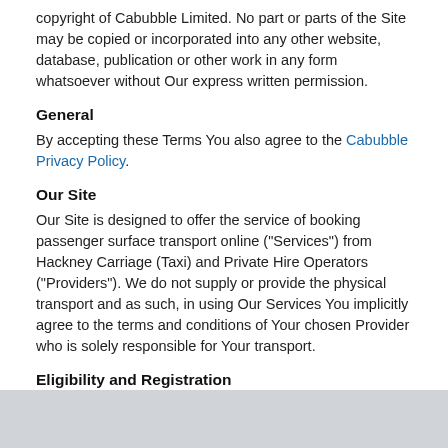copyright of Cabubble Limited. No part or parts of the Site may be copied or incorporated into any other website, database, publication or other work in any form whatsoever without Our express written permission.
General
By accepting these Terms You also agree to the Cabubble Privacy Policy.
Our Site
Our Site is designed to offer the service of booking passenger surface transport online ("Services") from Hackney Carriage (Taxi) and Private Hire Operators ("Providers"). We do not supply or provide the physical transport and as such, in using Our Services You implicitly agree to the terms and conditions of Your chosen Provider who is solely responsible for Your transport.
Eligibility and Registration
You must be 18 years or older to use Our Service. By using Our Site, You undertake that You are 18 or older and that You have the capacity to understand, agree to and comply with these Terms of Use. You accept Our Terms on behalf of all passengers travelling in Your party. You should provide true, accurate and complete registration information to become a member of the Site ("Member") and should maintain this information on the account